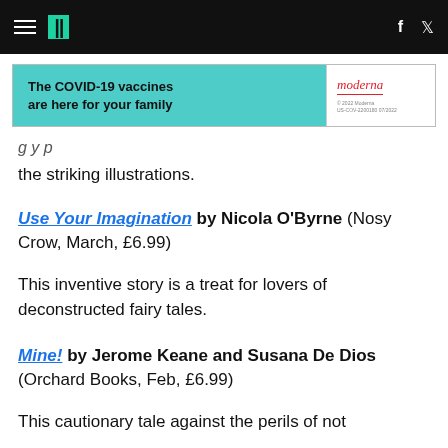HuffPost navigation bar with logo, hamburger menu, Facebook and Twitter icons
[Figure (other): Moderna COVID-19 vaccine advertisement banner: 'The COVID-19 vaccines are here for your family' with Moderna logo]
the striking illustrations.
Use Your Imagination by Nicola O'Byrne (Nosy Crow, March, £6.99)
This inventive story is a treat for lovers of deconstructed fairy tales.
Mine! by Jerome Keane and Susana De Dios (Orchard Books, Feb, £6.99)
This cautionary tale against the perils of not